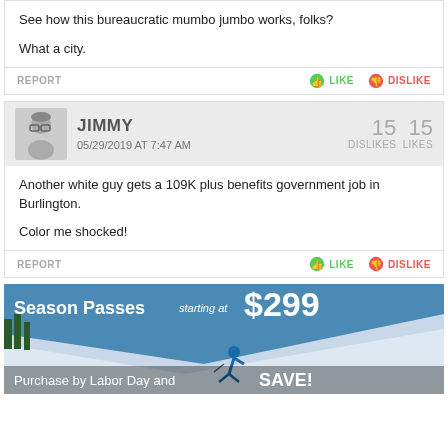See how this bureaucratic mumbo jumbo works, folks?

What a city.
REPORT   LIKE   DISLIKE
JIMMY
05/29/2019 AT 7:47 AM
15 DISLIKES  15 LIKES
Another white guy gets a 109K plus benefits government job in Burlington.

Color me shocked!
REPORT   LIKE   DISLIKE
[Figure (photo): Advertisement banner: Season Passes starting at $299. Purchase by Labor Day and SAVE! Shows a skier on a snowy slope.]